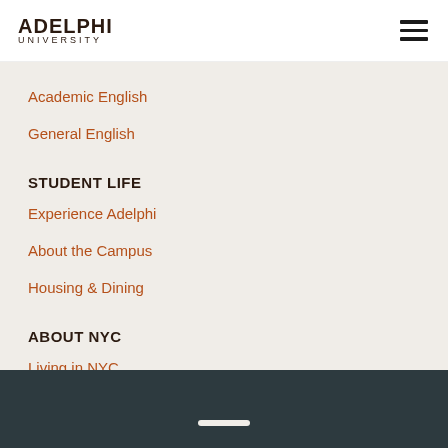ADELPHI UNIVERSITY
Academic English
General English
STUDENT LIFE
Experience Adelphi
About the Campus
Housing & Dining
ABOUT NYC
Living in NYC